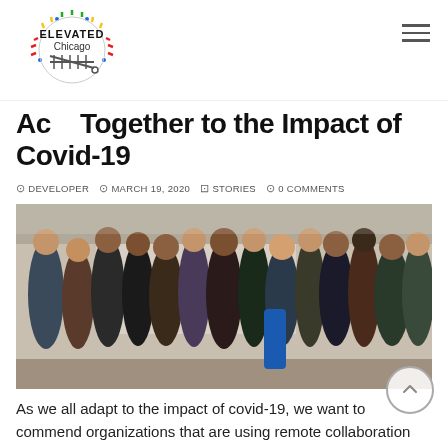Elevated Chicago
Adapting Together to the Impact of Covid-19
DEVELOPER  MARCH 19, 2020  STORIES  0 COMMENTS
[Figure (photo): Group photo of approximately 15 people standing together in a conference room setting, smiling at the camera.]
As we all adapt to the impact of covid-19, we want to commend organizations that are using remote collaboration systems and platforms, trusting that people